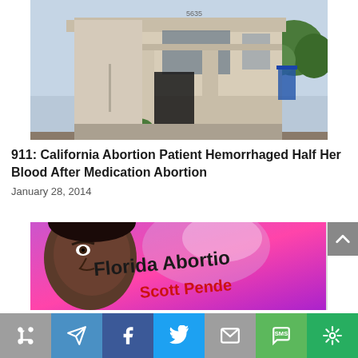[Figure (photo): Exterior photo of a beige/tan two-story commercial building with address 5635, dark doorway entrance, green shrubs, and blue sky with trees in background]
911: California Abortion Patient Hemorrhaged Half Her Blood After Medication Abortion
January 28, 2014
[Figure (photo): Thumbnail image showing a man's face on left side and colorful graphic on right with text 'Florida Abortion' in dark letters and 'Scott Pende...' in red letters on purple/pink background]
[Figure (infographic): Social share toolbar at bottom with icons: share (gray), telegram (blue), Facebook (dark blue), Twitter (light blue), email (gray), SMS (green), other (green)]